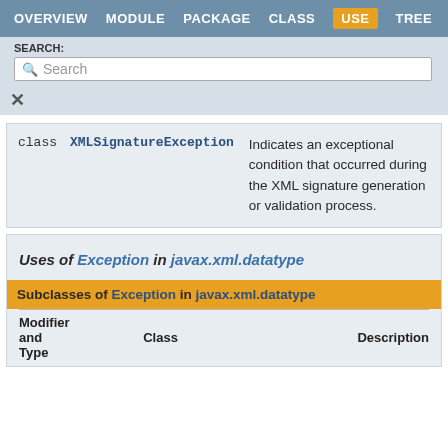OVERVIEW  MODULE  PACKAGE  CLASS  USE  TREE
SEARCH:
Search
| Modifier and Type | Class | Description |
| --- | --- | --- |
| class | XMLSignatureException | Indicates an exceptional condition that occurred during the XML signature generation or validation process. |
Uses of Exception in javax.xml.datatype
| Modifier and Type | Class | Description |
| --- | --- | --- |
| Modifier and Type | Class | Description |